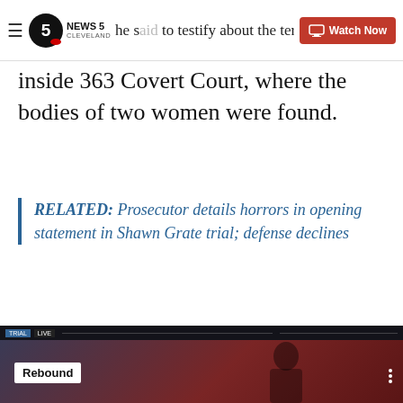NEWS 5 CLEVELAND — Watch Now
he said to testify about the terrible things he saw inside 363 Covert Court, where the bodies of two women were found.
RELATED: Prosecutor details horrors in opening statement in Shawn Grate trial; defense declines
On Sept. 13, 2016, police initially arrived at the home after a woman called 911 to report she had been kidnapped by Grate.
Recent Stories from news5cleveland.com
[Figure (screenshot): Video thumbnail showing a man in a courtroom with 'Rebound' label overlay]